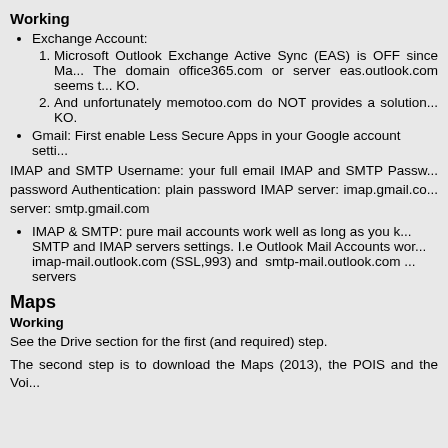Working
Exchange Account:
1. Microsoft Outlook Exchange Active Sync (EAS) is OFF since Ma... The domain office365.com or server eas.outlook.com seems t... KO.
2. And unfortunately memotoo.com do NOT provides a solution... KO.
Gmail: First enable Less Secure Apps in your Google account setti...
IMAP and SMTP Username: your full email IMAP and SMTP Passw... password Authentication: plain password IMAP server: imap.gmail.co... server: smtp.gmail.com
IMAP & SMTP: pure mail accounts work well as long as you k... SMTP and IMAP servers settings. I.e Outlook Mail Accounts wor... imap-mail.outlook.com (SSL,993) and smtp-mail.outlook.com ... servers
Maps
Working
See the Drive section for the first (and required) step.
The second step is to download the Maps (2013), the POIS and the Voi...